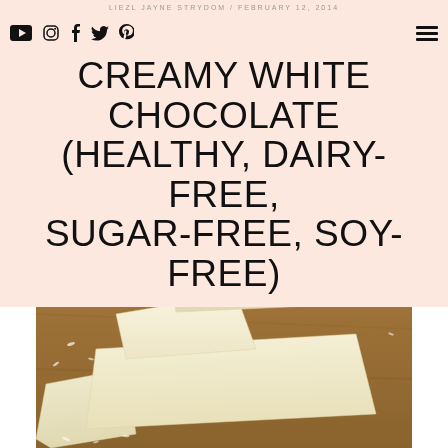LIEZL JAYNE STRYDOM / FEBRUARY 12, 2014
CREAMY WHITE CHOCOLATE (HEALTHY, DAIRY-FREE, SUGAR-FREE, SOY-FREE)
[Figure (photo): Pieces of white chocolate stacked on a wooden surface, scattered with coconut flakes]